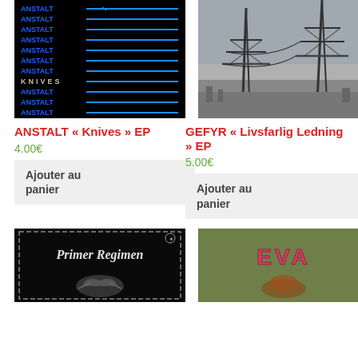[Figure (photo): ANSTALT Knives EP album cover - black background with repeated blue text ANSTALT and blue knife illustrations]
[Figure (photo): GEFYR Livsfarlig Ledning EP album cover - black and white photo of electrical pylons/power lines]
ANSTALT « Knives » EP
GEFYR « Livsfarlig Ledning » EP
4.00€
5.00€
Ajouter au panier
Ajouter au panier
[Figure (photo): Primer Regimen album cover - black background with gothic lettering and chain border design]
[Figure (photo): EVA album cover - olive/green background with EVA text in red/pink pixel style letters]